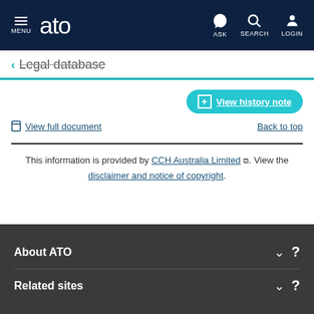MENU | ato | ASK | SEARCH | LOGIN
← Legal database
+ View history note
View full document | Back to top
This information is provided by CCH Australia Limited. View the disclaimer and notice of copyright.
About ATO
Related sites